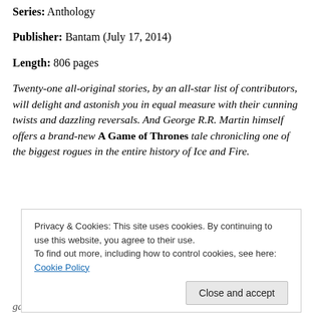Series: Anthology
Publisher: Bantam (July 17, 2014)
Length: 806 pages
Twenty-one all-original stories, by an all-star list of contributors, will delight and astonish you in equal measure with their cunning twists and dazzling reversals. And George R.R. Martin himself offers a brand-new A Game of Thrones tale chronicling one of the biggest rogues in the entire history of Ice and Fire.
Privacy & Cookies: This site uses cookies. By continuing to use this website, you agree to their use. To find out more, including how to control cookies, see here: Cookie Policy
gallery of stories that will plunder your heart — and yet